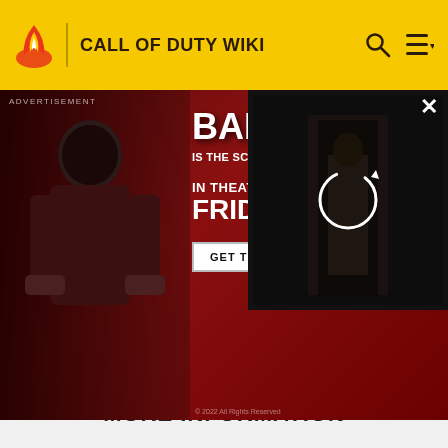CALL OF DUTY WIKI
[Figure (screenshot): Advertisement overlay for the movie Barbarian. Red background with a person in shadow on the left. Text reads: BARBARIAN IS THE SCARIEST MOVIE IN YEARS. IN THEATERS FRIDAY. GET TICKETS button. Right side shows a dark video preview with a refresh icon.]
ADVERTISEMENT
[Figure (other): Gray advertisement banner placeholder]
ADVERTISEMENT
MORE INFORMATION